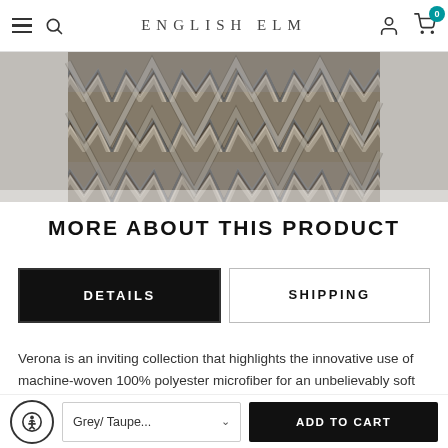ENGLISH ELM
[Figure (photo): Close-up of a chevron/zigzag patterned rug in grey, taupe, brown, and cream colors, machine-woven polyester microfiber]
MORE ABOUT THIS PRODUCT
DETAILS
SHIPPING
Verona is an inviting collection that highlights the innovative use of machine-woven 100% polyester microfiber for an unbelievably soft hand and luxurious feel. It features a classic palette of
Grey/ Taupe...
ADD TO CART